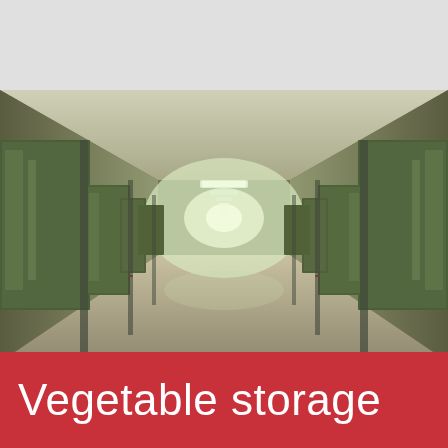[Figure (photo): Interior corridor of a vegetable cold storage facility. Long hallway with green insulated panel doors on both sides, white ceilings with fluorescent strip lights receding to a bright vanishing point at the far end. Floor is light-colored concrete.]
Vegetable storage